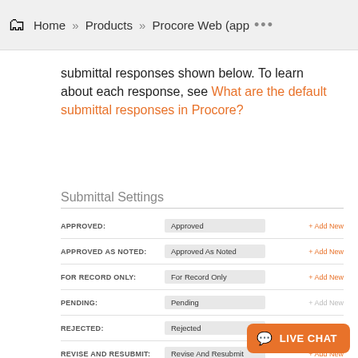Home » Products » Procore Web (app ···
submittal responses shown below. To learn about each response, see What are the default submittal responses in Procore?
Submittal Settings
| Label | Value | Action |
| --- | --- | --- |
| APPROVED: | Approved | + Add New |
| APPROVED AS NOTED: | Approved As Noted | + Add New |
| FOR RECORD ONLY: | For Record Only | + Add New |
| PENDING: | Pending | + Add New |
| REJECTED: | Rejected | + Add New |
| REVISE AND RESUBMIT: | Revise And Resubmit | + Add New |
| SUBMITTED: | Submitted | + Add New |
| VOID: | Void | + Add New |